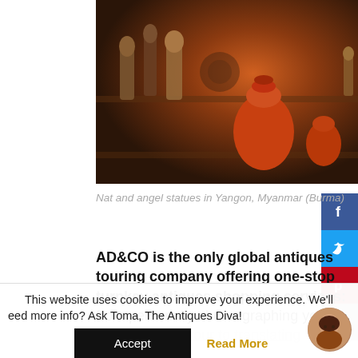[Figure (photo): Nat and angel statues displayed on shelves in Yangon, Myanmar (Burma) — colorful wooden figurines and orange lacquerware pots.]
Nat and angel statues in Yangon, Myanmar (Burma)
AD&CO is the only global antiques touring company offering one-stop turnkey antiques shopping services: from personally choreographing your private buying tour to translating...
This website uses cookies to improve your experience. We'll
eed more info? Ask Toma, The Antiques Diva! yo h.
Accept
Read More